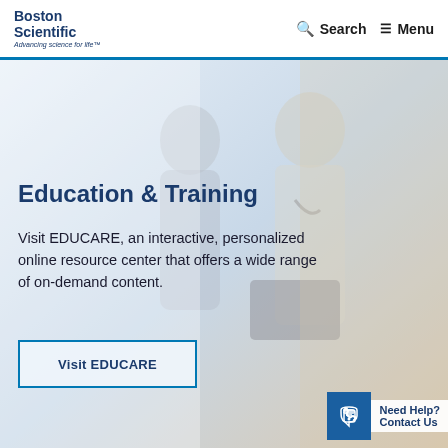Boston Scientific — Advancing science for life™  |  Search  |  Menu
[Figure (photo): Two medical professionals (a woman and a male doctor in white coat with stethoscope) looking at a tablet device together, in a clinical setting. Background used as hero image.]
Education & Training
Visit EDUCARE, an interactive, personalized online resource center that offers a wide range of on-demand content.
Visit EDUCARE
Need Help? Contact Us